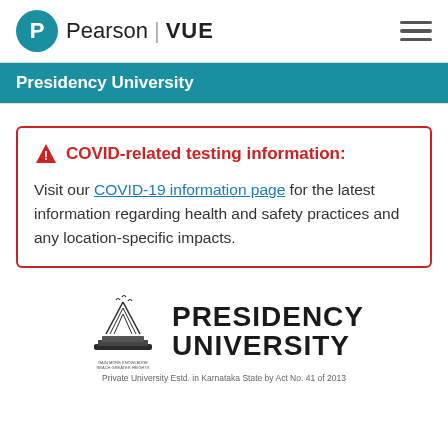Pearson | VUE
Presidency University
COVID-related testing information: Visit our COVID-19 information page for the latest information regarding health and safety practices and any location-specific impacts.
[Figure (logo): Presidency University logo with mountain/book graphic and tagline: Private University Estd. in Karnataka State by Act No. 41 of 2013]